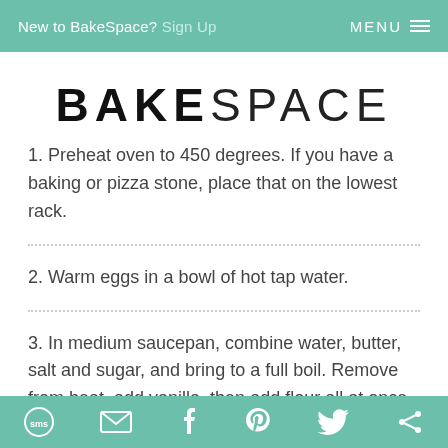New to BakeSpace? Sign Up  MENU
BAKESPACE
1. Preheat oven to 450 degrees. If you have a baking or pizza stone, place that on the lowest rack.
2. Warm eggs in a bowl of hot tap water.
3. In medium saucepan, combine water, butter, salt and sugar, and bring to a full boil. Remove from heat, add vanilla, then add flour all at once, stirring
SMS | Email | Facebook | Pinterest | Twitter | Share